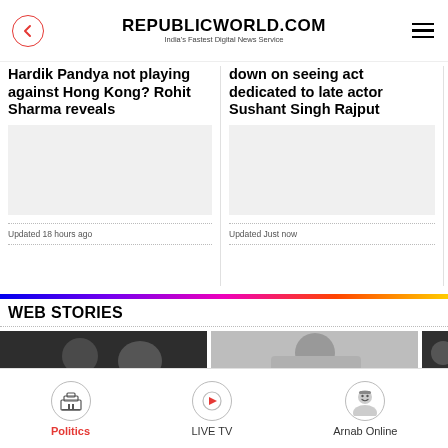REPUBLICWORLD.COM
India's Fastest Digital News Service
Hardik Pandya not playing against Hong Kong? Rohit Sharma reveals
Updated 18 hours ago
down on seeing act dedicated to late actor Sushant Singh Rajput
Updated Just now
requ catch
Update
WEB STORIES
[Figure (photo): Web story thumbnail 1 - dark image with person]
[Figure (photo): Web story thumbnail 2 - person image]
[Figure (photo): Web story thumbnail 3 - partial image]
Politics | LIVE TV | Arnab Online